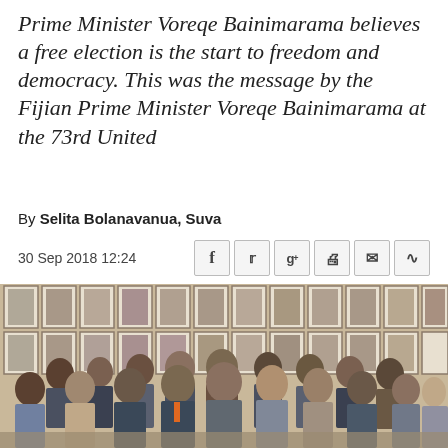Prime Minister Voreqe Bainimarama believes a free election is the start to freedom and democracy. This was the message by the Fijian Prime Minister Voreqe Bainimarama at the 73rd United
By Selita Bolanavanua, Suva
30 Sep 2018 12:24
[Figure (photo): Group photo of approximately 25 people standing in front of a wall covered with black-and-white portrait photographs. The group includes men and women of various ethnicities, formally dressed, some wearing lanyards. A man in the center front is wearing an orange tie.]